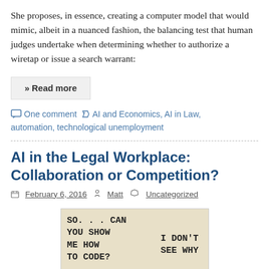She proposes, in essence, creating a computer model that would mimic, albeit in a nuanced fashion, the balancing test that human judges undertake when determining whether to authorize a wiretap or issue a search warrant:
» Read more
One comment  AI and Economics, AI in Law, automation, technological unemployment
AI in the Legal Workplace: Collaboration or Competition?
February 6, 2016  Matt  Uncategorized
[Figure (illustration): Comic strip image with text: 'SO... CAN YOU SHOW ME HOW TO CODE?' on the left and 'I DON'T SEE WHY' on the right, on a beige/tan background.]